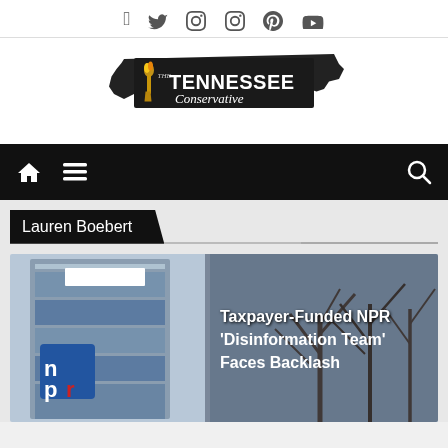Social media icons: Facebook, Twitter, Instagram, Pinterest, YouTube
[Figure (logo): The Tennessee Conservative logo — torch with flame over silhouette of Tennessee state, black background banner with white text TENNESSEE Conservative]
[Figure (other): Navigation bar with home icon, hamburger menu icon, and search icon on black background]
Lauren Boebert
[Figure (photo): NPR building with blue glass facade and NPR logo sign (red/blue/white n p r letters). Background shows bare winter trees against grey sky. Overlaid headline text: Taxpayer-Funded NPR 'Disinformation Team' Faces Backlash]